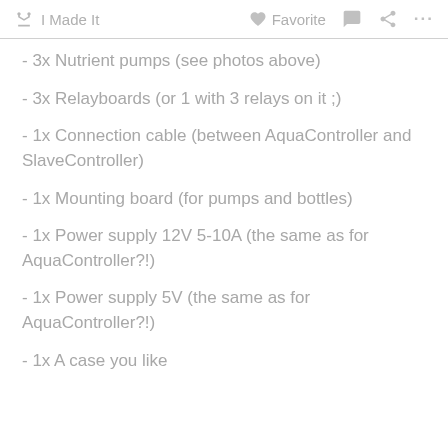I Made It  Favorite  ...
- 3x Nutrient pumps (see photos above)
- 3x Relayboards (or 1 with 3 relays on it ;)
- 1x Connection cable (between AquaController and SlaveController)
- 1x Mounting board (for pumps and bottles)
- 1x Power supply 12V 5-10A (the same as for AquaController?!)
- 1x Power supply 5V (the same as for AquaController?!)
- 1x A case you like